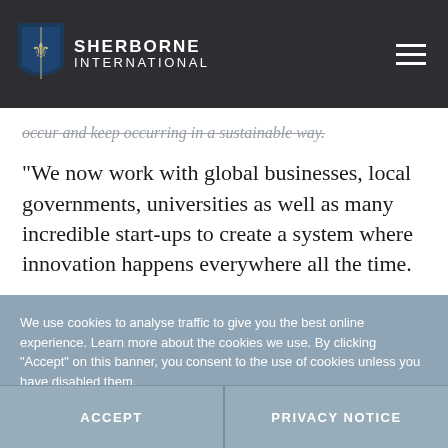SHERBORNE INTERNATIONAL
occur and keep occurring in a sustainable way.
“We now work with global businesses, local governments, universities as well as many incredible start-ups to create a system where innovation happens everywhere all the time.
We use cookies to analyse traffic to give you the best online experience. Learn more about the cookies we use. By clicking “Accept” on this banner, you consent to the use of cookies unless you have disabled them.
ACCEPT
PRIVACY NOTICE